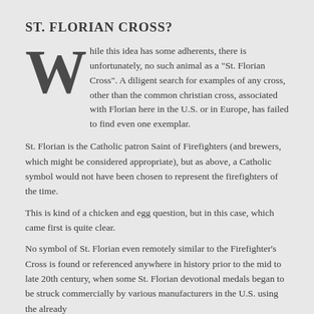ST. FLORIAN CROSS?
While this idea has some adherents, there is unfortunately, no such animal as a "St. Florian Cross". A diligent search for examples of any cross, other than the common christian cross, associated with Florian here in the U.S. or in Europe, has failed to find even one exemplar.
St. Florian is the Catholic patron Saint of Firefighters (and brewers, which might be considered appropriate), but as above, a Catholic symbol would not have been chosen to represent the firefighters of the time.
This is kind of a chicken and egg question, but in this case, which came first is quite clear.
No symbol of St. Florian even remotely similar to the Firefighter's Cross is found or referenced anywhere in history prior to the mid to late 20th century, when some St. Florian devotional medals began to be struck commercially by various manufacturers in the U.S. using the already